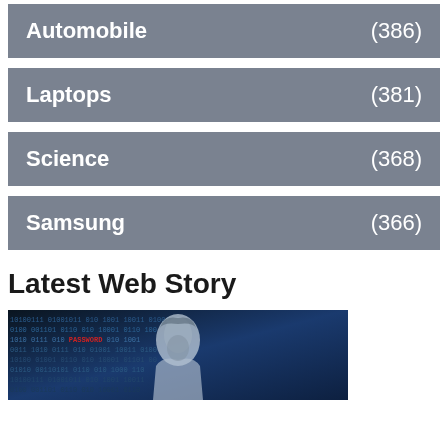Automobile (386)
Laptops (381)
Science (368)
Samsung (366)
Latest Web Story
[Figure (photo): A hooded hacker figure silhouetted against a dark blue digital matrix background with code and the word PASSWORD highlighted in red]